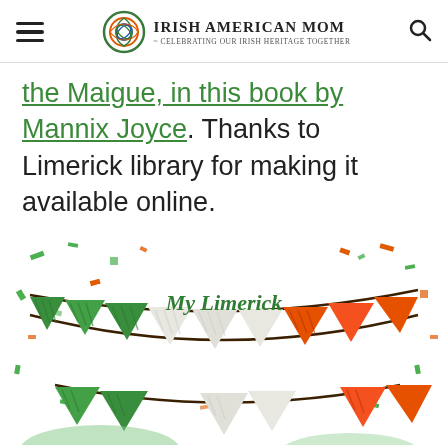Irish American Mom - Celebrating Our Irish Heritage Together
the Maigue, in this book by Mannix Joyce. Thanks to Limerick library for making it available online.
[Figure (illustration): Colorful bunting flags in green, white, and orange (Irish flag colors) with text 'My Limerick' and scattered confetti pieces, partially visible at bottom]